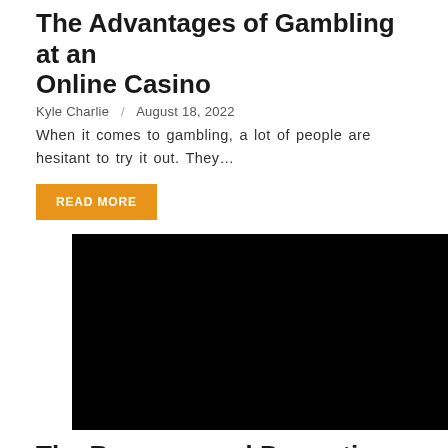The Advantages of Gambling at an Online Casino
Kyle Charlie / August 18, 2022
When it comes to gambling, a lot of people are hesitant to try it out. They...
READ MORE
[Figure (photo): Black image placeholder for an online casino article]
The Bonuses and Promotions at Online Casinos